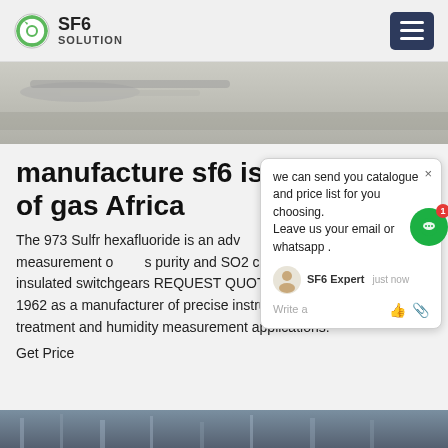SF6 SOLUTION
[Figure (photo): Close-up photo of industrial equipment, light grey surface with cables or pipes]
manufacture sf6 is type of gas Africa
The 973 Sulfr hexafluoride is an advanced gas analyzer for the measurement of ... purity and SO2 concentration in Sulf... gas insulated switchgears REQUEST QUOTE MBW was founded in 1962 as a manufacturer of precise instrumentation for textile, heat treatment and humidity measurement applications.
Get Price
[Figure (screenshot): Chat popup overlay with message: we can send you catalogue and price list for you choosing. Leave us your email or whatsapp. SF6 Expert just now. Write a...]
[Figure (photo): Bottom image showing industrial/electrical equipment outdoors]